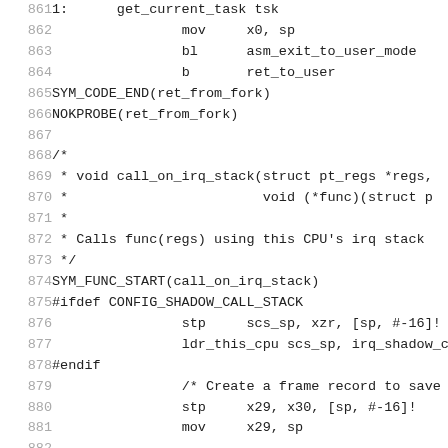Assembly/C code listing lines 861-882 showing ret_from_fork and call_on_irq_stack function implementations in ARM64 assembly